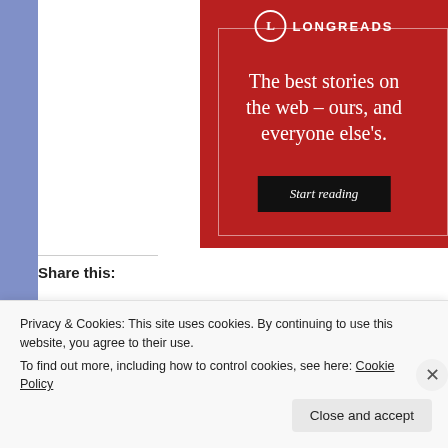[Figure (screenshot): Longreads promotional banner with red background, circular L logo, tagline 'The best stories on the web – ours, and everyone else's.' and a black 'Start reading' button]
Share this:
Privacy & Cookies: This site uses cookies. By continuing to use this website, you agree to their use.
To find out more, including how to control cookies, see here: Cookie Policy
Close and accept